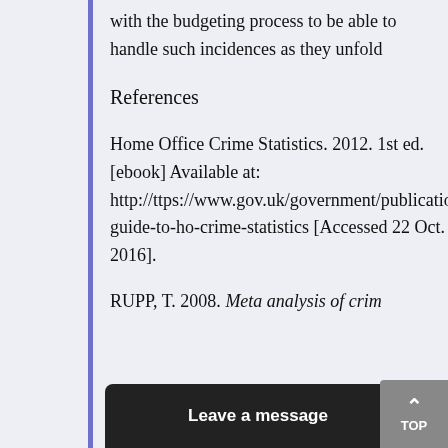with the budgeting process to be able to handle such incidences as they unfold
References
Home Office Crime Statistics. 2012. 1st ed. [ebook] Available at: http://ttps://www.gov.uk/government/publications/guide-to-ho-crime-statistics [Accessed 22 Oct. 2016].
RUPP, T. 2008. Meta analysis of crim…